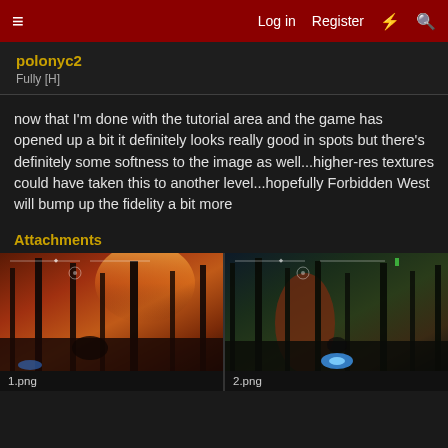☰   Log in   Register   ⚡   🔍
polonyc2
Fully [H]
now that I'm done with the tutorial area and the game has opened up a bit it definitely looks really good in spots but there's definitely some softness to the image as well...higher-res textures could have taken this to another level...hopefully Forbidden West will bump up the fidelity a bit more
Attachments
[Figure (screenshot): Game screenshot showing a character in a forest with a warm sunset sky, orange and red tones, tall pine trees. HUD overlay visible at top.]
1.png
[Figure (screenshot): Game screenshot showing a forest scene with cooler blue and teal tones, tall pine trees, a glowing light source near bottom center. HUD overlay visible at top.]
2.png